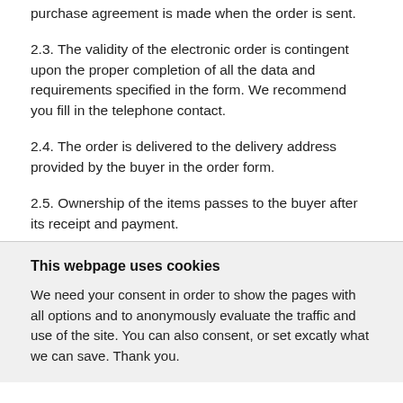purchase agreement is made when the order is sent.
2.3. The validity of the electronic order is contingent upon the proper completion of all the data and requirements specified in the form. We recommend you fill in the telephone contact.
2.4. The order is delivered to the delivery address provided by the buyer in the order form.
2.5. Ownership of the items passes to the buyer after its receipt and payment.
2.6. By completing the registration form or order in the online store protein-way.com, the buyer gives the seller consent to collect and save personal information about the buyer and their
This webpage uses cookies
We need your consent in order to show the pages with all options and to anonymously evaluate the traffic and use of the site. You can also consent, or set excatly what we can save. Thank you.